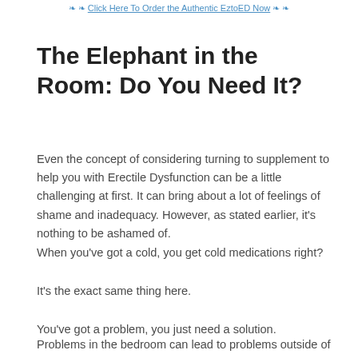❧ ❧ Click Here To Order the Authentic EztoED Now ❧ ❧
The Elephant in the Room: Do You Need It?
Even the concept of considering turning to supplement to help you with Erectile Dysfunction can be a little challenging at first. It can bring about a lot of feelings of shame and inadequacy. However, as stated earlier, it's nothing to be ashamed of.
When you've got a cold, you get cold medications right?
It's the exact same thing here.
You've got a problem, you just need a solution.
Problems in the bedroom can lead to problems outside of it, if we